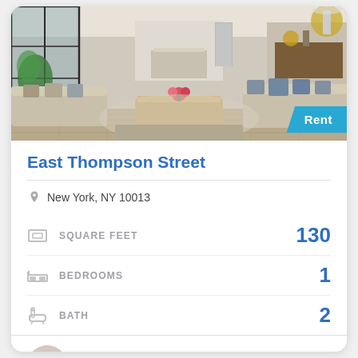[Figure (photo): Interior photo of a luxury open-plan living room with large sofas, wooden coffee table, floral centerpiece, kitchen visible in background, and large windows with dark frames.]
East Thompson Street
New York, NY 10013
SQUARE FEET   130
BEDROOMS   1
BATH   2
Britney Doe